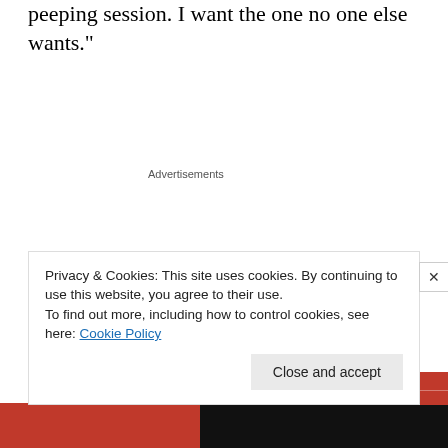peeping session. I want the one no one else wants."
Advertisements
[Figure (illustration): Longreads advertisement banner on red background with logo, headline 'The best stories on the web – ours, and everyone else's.' and 'Start reading' button]
Privacy & Cookies: This site uses cookies. By continuing to use this website, you agree to their use.
To find out more, including how to control cookies, see here: Cookie Policy
Close and accept